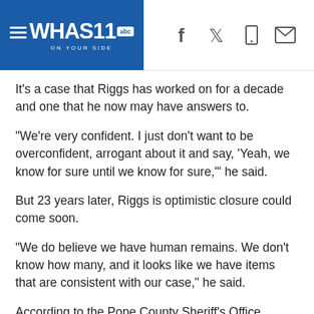WHAS11 abc ON YOUR SIDE
It's a case that Riggs has worked on for a decade and one that he now may have answers to.
"We're very confident. I just don't want to be overconfident, arrogant about it and say, 'Yeah, we know for sure until we know for sure,'" he said.
But 23 years later, Riggs is optimistic closure could come soon.
"We do believe we have human remains. We don't know how many, and it looks like we have items that are consistent with our case," he said.
According to the Pope County Sheriff's Office, someone with the non-profit group Adventures with Purpose called saying they located Hopper's car in the Illinois Bayou off of Pleasant View Road.
Adventures with Purpose reportedly travels the country